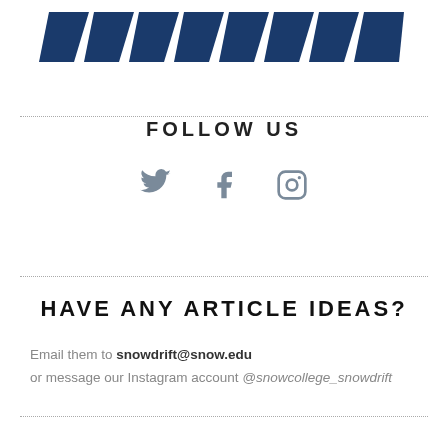[Figure (logo): Snow College Snowdrift logo - decorative blue zigzag/chevron pattern at top]
FOLLOW US
[Figure (illustration): Three social media icons: Twitter bird, Facebook f, Instagram camera]
HAVE ANY ARTICLE IDEAS?
Email them to snowdrift@snow.edu or message our Instagram account @snowcollege_snowdrift